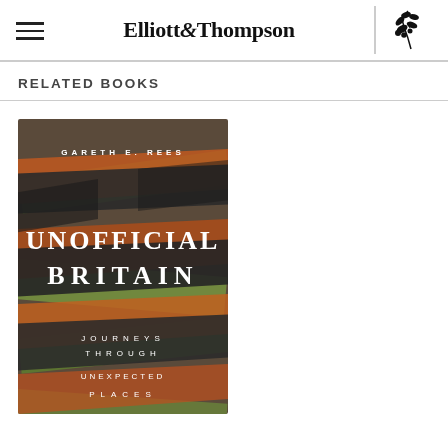Elliott&Thompson
RELATED BOOKS
[Figure (illustration): Book cover of 'Unofficial Britain: Journeys Through Unexpected Places' by Gareth E. Rees, featuring an abstract layered design with ribbons of orange, green, and dark grey over a highway/urban landscape.]